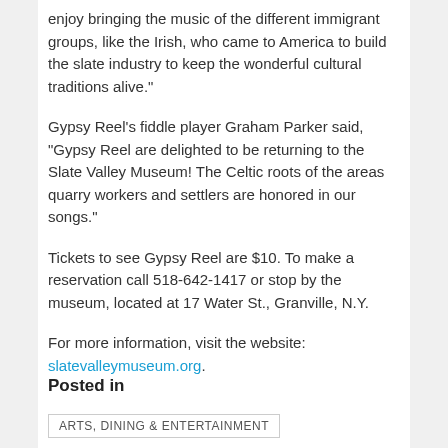enjoy bringing the music of the different immigrant groups, like the Irish, who came to America to build the slate industry to keep the wonderful cultural traditions alive."
Gypsy Reel’s fiddle player Graham Parker said, “Gypsy Reel are delighted to be returning to the Slate Valley Museum! The Celtic roots of the areas quarry workers and settlers are honored in our songs.”
Tickets to see Gypsy Reel are $10. To make a reservation call 518-642-1417 or stop by the museum, located at 17 Water St., Granville, N.Y.
For more information, visit the website: slatevalleymuseum.org.
Posted in
ARTS, DINING & ENTERTAINMENT